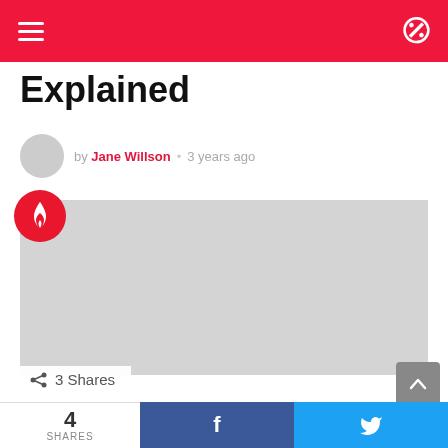Navigation bar with menu and dark mode toggle
Explained
by Jane Willson • 3 years ago
[Figure (photo): Featured article image placeholder (gray rectangle) with a red circular fire icon badge in the top-left corner]
3 Shares
Khalid - Talk Lyrics Meaning Explained
4 SHARES  [Facebook share button]  [Twitter share button]